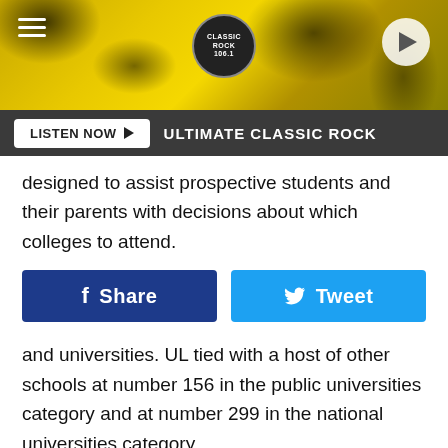[Figure (screenshot): Classic Rock 106.1 radio station banner with yellow paint splatter background, hamburger menu icon on left, Classic Rock logo in center, play button on right]
[Figure (screenshot): Listen Now button bar with dark background showing 'LISTEN NOW' button and 'ULTIMATE CLASSIC ROCK' text]
designed to assist prospective students and their parents with decisions about which colleges to attend.
[Figure (screenshot): Social sharing buttons: Facebook Share button (dark blue) and Tweet button (light blue)]
and universities. UL tied with a host of other schools at number 156 in the public universities category and at number 299 in the national universities category.
National universities are those that emphasize research and offer bachelor's, master's, and doctoral degrees. UL is designated as a doctorate-granting institution with the second-highest level of research activity.
U.S. News & World Report compiles rankings based on a